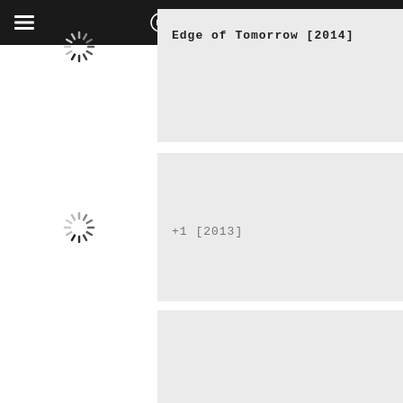MORI-REVIEWS
Edge of Tomorrow [2014]
+1 [2013]